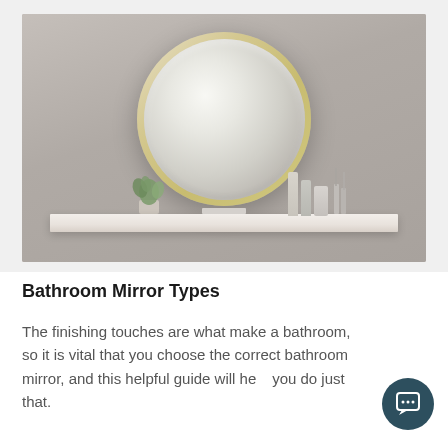[Figure (photo): A round bathroom mirror with a thin gold/brass frame mounted on a grey wall above a white floating shelf. On the shelf are a small potted plant on the left, a flat cosmetics item in the center, and toiletry bottles with brushes on the right.]
Bathroom Mirror Types
The finishing touches are what make a bathroom, so it is vital that you choose the correct bathroom mirror, and this helpful guide will help you do just that.